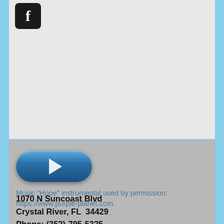[Figure (logo): Facebook logo icon — white 'f' on dark rounded square background]
[Figure (other): Blue pill-shaped media play button with white triangle/play icon]
Music "Hope" instrumental used by permission: https://www.purple-planet.com.
1070 N Suncoast Blvd
Crystal River, FL  34429
Phone: (352)-795-5325
About St. Timothy's Music Department